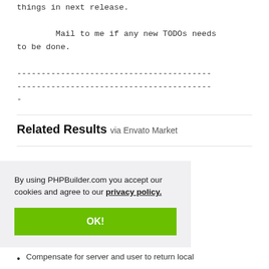things in next release.

        Mail to me if any new TODOs needs to be done.

----------------------------------------
----------------------------------------
-
Related Results via Envato Market
By using PHPBuilder.com you accept our cookies and agree to our privacy policy.
OK!
Compensate for server and user to return local